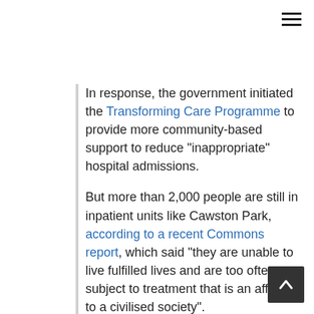In response, the government initiated the Transforming Care Programme to provide more community-based support to reduce "inappropriate" hospital admissions.
But more than 2,000 people are still in inpatient units like Cawston Park, according to a recent Commons report, which said "they are unable to live fulfilled lives and are too often subject to treatment that is an affront to a civilised society".
Source: BBC News
8. Over six thousand victims and survivors of child sexual abuse have now shared their experience with the Truth Project, part of the Independent Inquiry into Child Sexual Abuse. All have made a vital contribution to the